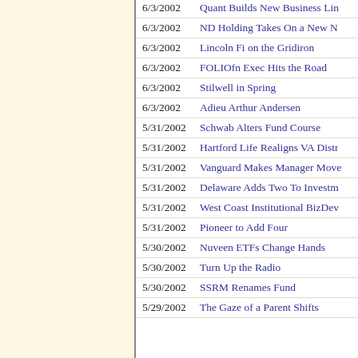6/3/2002 | Quant Builds New Business Lin
6/3/2002 | ND Holding Takes On a New N
6/3/2002 | Lincoln Fi on the Gridiron
6/3/2002 | FOLIOfn Exec Hits the Road
6/3/2002 | Stilwell in Spring
6/3/2002 | Adieu Arthur Andersen
5/31/2002 | Schwab Alters Fund Course
5/31/2002 | Hartford Life Realigns VA Distr
5/31/2002 | Vanguard Makes Manager Move
5/31/2002 | Delaware Adds Two To Investm
5/31/2002 | West Coast Institutional BizDev
5/31/2002 | Pioneer to Add Four
5/30/2002 | Nuveen ETFs Change Hands
5/30/2002 | Turn Up the Radio
5/30/2002 | SSRM Renames Fund
5/29/2002 | The Gaze of a Parent Shifts